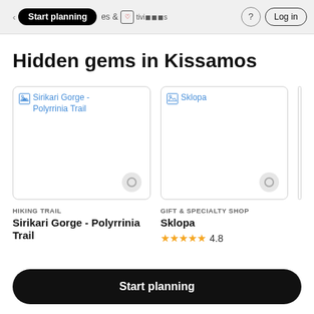Start planning | & Activities | ? | Log in
Hidden gems in Kissamos
[Figure (screenshot): Broken image placeholder for Sirikari Gorge - Polyrrinia Trail with location pin icon]
[Figure (screenshot): Broken image placeholder for Sklopa with location pin icon]
HIKING TRAIL
Sirikari Gorge - Polyrrinia Trail
GIFT & SPECIALTY SHOP
Sklopa
★★★★★ 4.8
Start planning